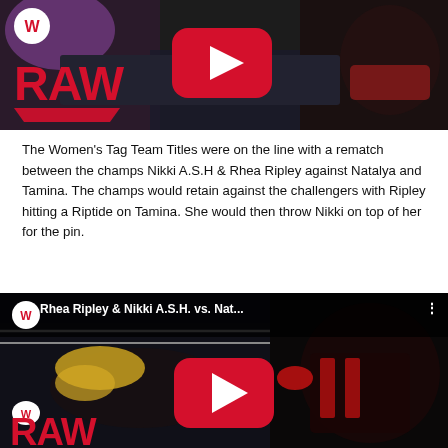[Figure (screenshot): WWE RAW YouTube video thumbnail showing female wrestlers in a ring, with WWE RAW logo and YouTube play button overlay.]
The Women's Tag Team Titles were on the line with a rematch between the champs Nikki A.S.H & Rhea Ripley against Natalya and Tamina. The champs would retain against the challengers with Ripley hitting a Riptide on Tamina. She would then throw Nikki on top of her for the pin.
[Figure (screenshot): WWE RAW YouTube video thumbnail titled 'Rhea Ripley & Nikki A.S.H. vs. Nat...' showing wrestlers in action, with WWE RAW logo and YouTube play button overlay.]